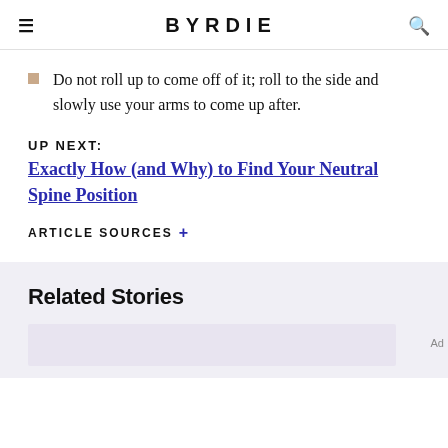BYRDIE
Do not roll up to come off of it; roll to the side and slowly use your arms to come up after.
UP NEXT: Exactly How (and Why) to Find Your Neutral Spine Position
ARTICLE SOURCES +
Related Stories